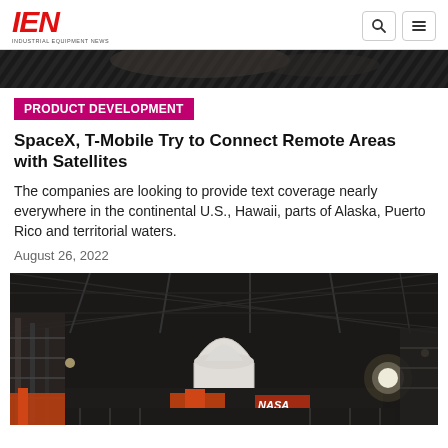IEN — INDUSTRIAL EQUIPMENT NEWS
[Figure (photo): Partial top image strip showing a dark industrial or event background]
PRODUCT DEVELOPMENT
SpaceX, T-Mobile Try to Connect Remote Areas with Satellites
The companies are looking to provide text coverage nearly everywhere in the continental U.S., Hawaii, parts of Alaska, Puerto Rico and territorial waters.
August 26, 2022
[Figure (photo): A large white rocket fairing or nosecone inside a dark industrial hangar with metal scaffolding and bright work lights; NASA logo visible in the background]